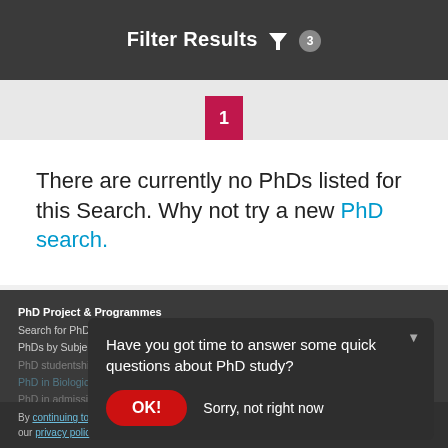Filter Results 🔽 3
1
There are currently no PhDs listed for this Search. Why not try a new PhD search.
PhD Project & Programmes
Search for PhDs
PhDs by Subject
PhD studentship
PhD in Biological Sciences
PhD in admissions
[Figure (screenshot): Modal dialog asking 'Have you got time to answer some quick questions about PhD study?' with OK! button and 'Sorry, not right now' option]
By continuing to use our website, you agree to our privacy policy